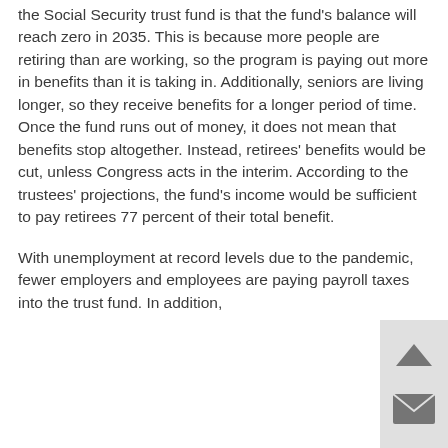the Social Security trust fund is that the fund's balance will reach zero in 2035. This is because more people are retiring than are working, so the program is paying out more in benefits than it is taking in. Additionally, seniors are living longer, so they receive benefits for a longer period of time. Once the fund runs out of money, it does not mean that benefits stop altogether. Instead, retirees' benefits would be cut, unless Congress acts in the interim. According to the trustees' projections, the fund's income would be sufficient to pay retirees 77 percent of their total benefit.
With unemployment at record levels due to the pandemic, fewer employers and employees are paying payroll taxes into the trust fund. In addition,